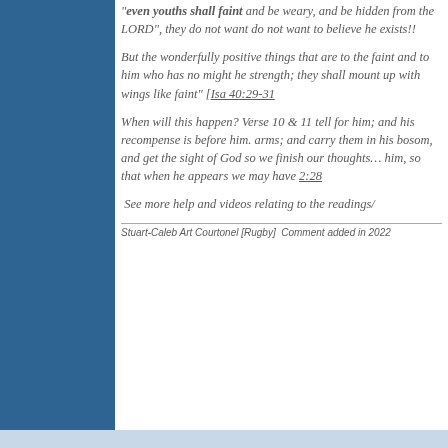"even youths shall faint and be weary, and be hidden from the LORD", they do not want to do not want to believe he exists!!
But the wonderfully positive things that are to the faint and to him who has no might he strength; they shall mount up with wings faint" [Isa 40:29-31
When will this happen?  Verse 10 & 11 tell for him; and his recompense is before him arms; and carry them in his bosom, and g the sight of God so we finish our thoughts him, so that when he appears we may hav 2:28
See more help and videos relating to the readings/
Stuart-Caleb Art Courtonel [Rugby]  Comment added in 2022